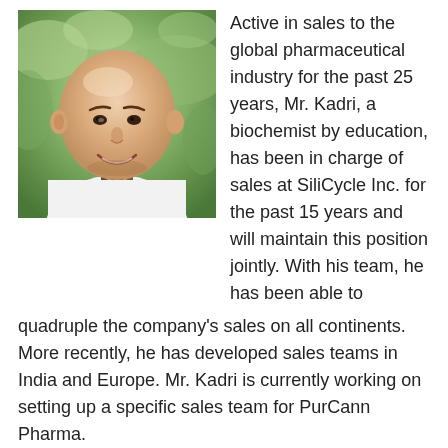[Figure (photo): Portrait photo of Mr. Kadri, a bald man smiling, wearing a white shirt with a black collar detail, with green plants/foliage in the background.]
Active in sales to the global pharmaceutical industry for the past 25 years, Mr. Kadri, a biochemist by education, has been in charge of sales at SiliCycle Inc. for the past 15 years and will maintain this position jointly. With his team, he has been able to quadruple the company's sales on all continents. More recently, he has developed sales teams in India and Europe. Mr. Kadri is currently working on setting up a specific sales team for PurCann Pharma.
PurCann Pharma is positioning itself to become a leader in the extraction and purification of molecules of interest from hemp and cannabis. The company's management team is currently in a very active phase, confident that the future of cannabis-derived products for medical purposes will be promising and will bring